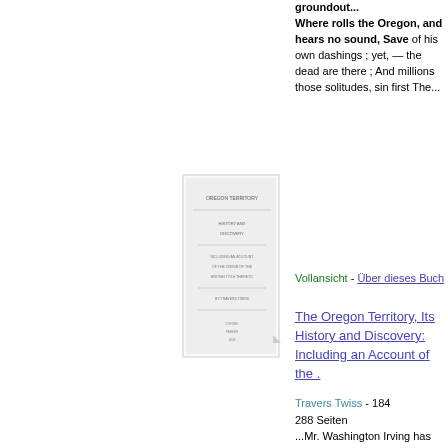groundout... Where rolls the Oregon, and hears no sound, Save of his own dashings ; yet, — the dead are there ; And millions those solitudes, sin first The...
Vollansicht - Über dieses Buch
[Figure (other): Thumbnail of book titled 'Oregon Territory']
The Oregon Territory, Its History and Discovery: Including an Account of the .
Travers Twiss - 184
288 Seiten
...Mr. Washington Irving has pronounced to be amongst the most distinguished of American poets : — Take the wings Of morning, and the